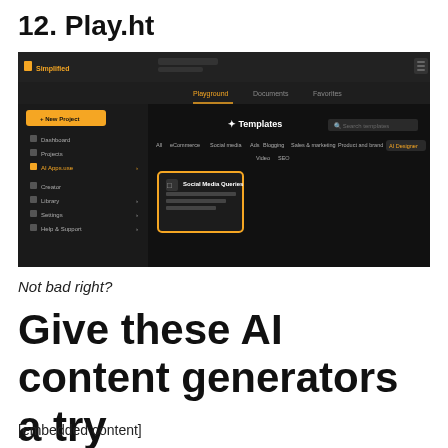12. Play.ht
[Figure (screenshot): Screenshot of Simplified AI platform showing dark UI with navigation sidebar, Templates section with category filters (All, eCommerce, Social media, Ads, Blogging, Sales & marketing, Product and brand, AI Designer, Video, SEO), and a Social Media Queries template card highlighted in orange border.]
Not bad right?
Give these AI content generators a try
[embedded content]